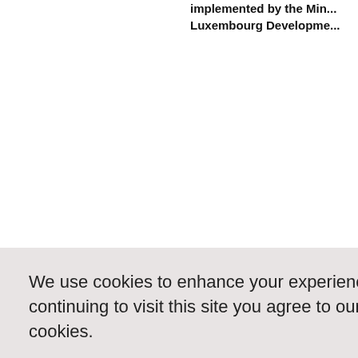implemented by the Min... Luxembourg Developme...
We use cookies to enhance your experience. By continuing to visit this site you agree to our use of cookies.
Learn more about our cookies management policy.
Opt out of analytics cookies - click here
Accept all cookies
olikham... ecation-...
ovember 20...
and hygie... he rural up... tinue to liv... e populatio... diseases... major co... o open def... een relativ... opment wh... declared the first 'Open De...